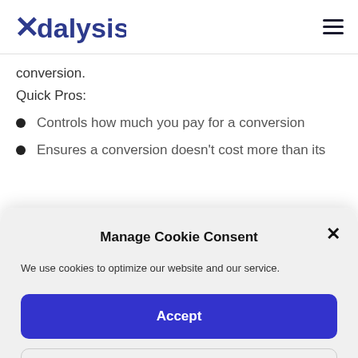Adalysis
conversion.
Quick Pros:
Controls how much you pay for a conversion
Ensures a conversion doesn't cost more than its
Manage Cookie Consent
We use cookies to optimize our website and our service.
Accept
Preferences
Cookie Policy  Privacy Policy